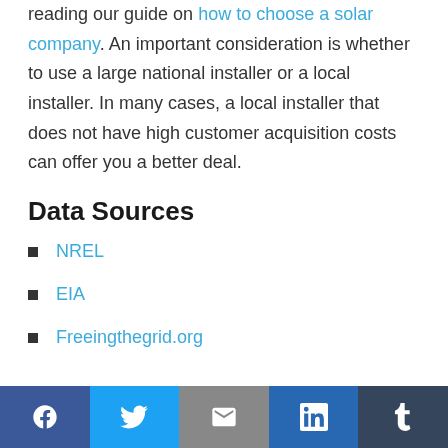reading our guide on how to choose a solar company. An important consideration is whether to use a large national installer or a local installer. In many cases, a local installer that does not have high customer acquisition costs can offer you a better deal.
Data Sources
NREL
EIA
Freeingthegrid.org
Social share bar: Facebook, Twitter, Email, LinkedIn, Tumblr